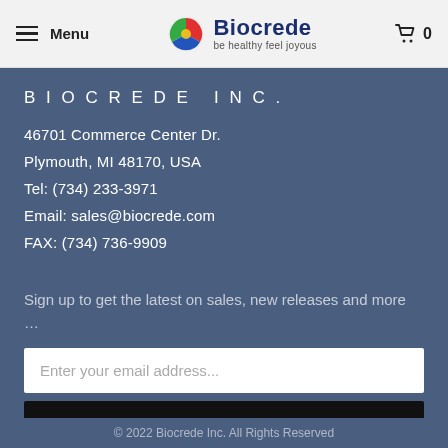Menu  Biocrede  be healthy feel joyous  0
BIOCREDE INC.
46701 Commerce Center Dr.
Plymouth, MI 48170, USA
Tel: (734) 233-3971
Email: sales@biocrede.com
FAX: (734) 736-9909
Sign up to get the latest on sales, new releases and more …
Enter your email address...
SIGN UP
© 2022 Biocrede Inc. All Rights Reserved